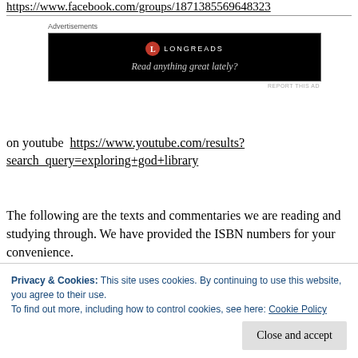https://www.facebook.com/groups/1871385569648323
[Figure (other): Longreads advertisement banner with black background. Logo: red circle with white L, text LONGREADS. Tagline: Read anything great lately?]
on youtube  https://www.youtube.com/results?search_query=exploring+god+library
The following are the texts and commentaries we are reading and studying through. We have provided the ISBN numbers for your convenience.
Privacy & Cookies: This site uses cookies. By continuing to use this website, you agree to their use.
To find out more, including how to control cookies, see here: Cookie Policy